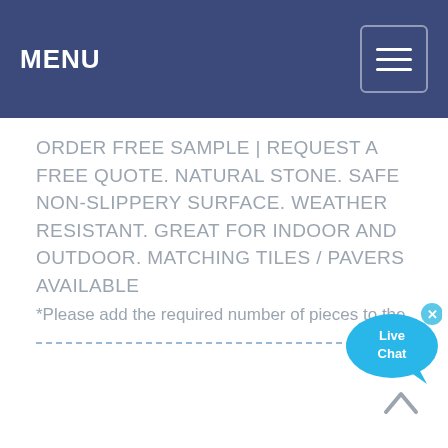MENU
ORDER FREE SAMPLE | REQUEST A FREE QUOTE. NATURAL STONE. SAFE NON-SLIPPERY SURFACE. WEATHER RESISTANT. GREAT FOR INDOOR AND OUTDOOR. MATCHING TILES / PAVERS AVAILABLE
*Please add the required number of pieces to the
[Figure (other): Live Chat speech bubble widget with blue background and white text reading 'Live Chat', with a close (x) button in the top right corner]
[Figure (other): Back to top arrow icon (chevron pointing up) in gray, positioned at the bottom right of the page]